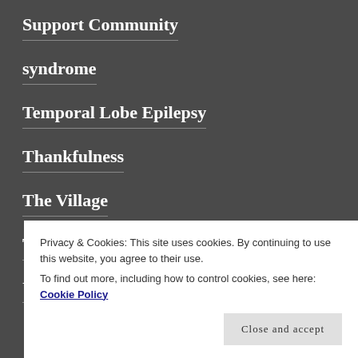Support Community
syndrome
Temporal Lobe Epilepsy
Thankfulness
The Village
Tonic Clonic Seizures
Uncategorized
Privacy & Cookies: This site uses cookies. By continuing to use this website, you agree to their use.
To find out more, including how to control cookies, see here: Cookie Policy
Close and accept